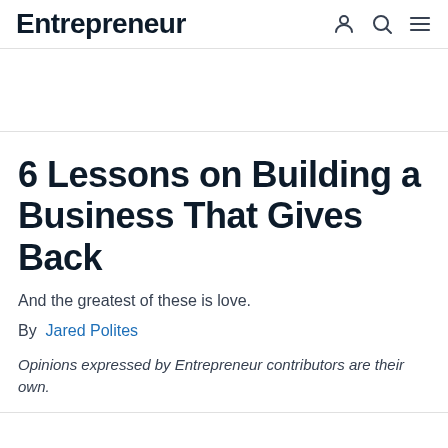Entrepreneur
6 Lessons on Building a Business That Gives Back
And the greatest of these is love.
By Jared Polites
Opinions expressed by Entrepreneur contributors are their own.